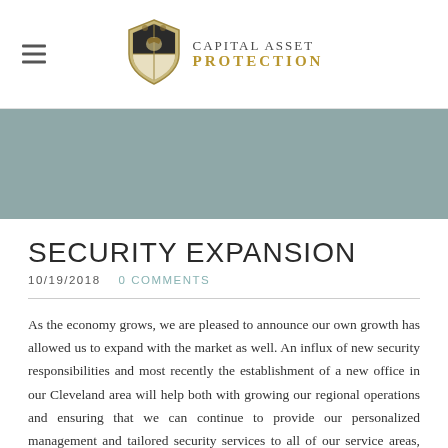Capital Asset Protection
[Figure (illustration): Heraldic shield/crest logo for Capital Asset Protection]
SECURITY EXPANSION
10/19/2018   0 COMMENTS
As the economy grows, we are pleased to announce our own growth has allowed us to expand with the market as well. An influx of new security responsibilities and most recently the establishment of a new office in our Cleveland area will help both with growing our regional operations and ensuring that we can continue to provide our personalized management and tailored security services to all of our service areas, regardless of how far away from our main office they may be. Any security